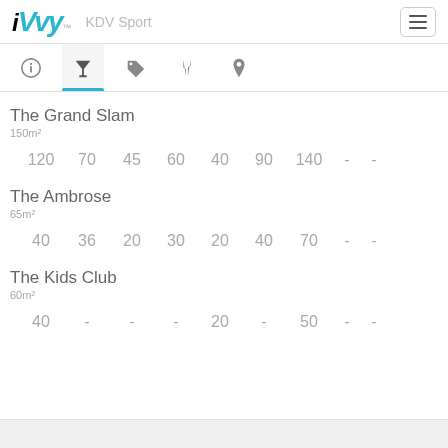iVvy KDV Sport
[Figure (screenshot): Navigation tab bar with icons: info (i), cocktail glass (active/selected with blue underline), tag, cutlery, map pin]
The Grand Slam
150m²
120  70  45  60  40  90  140  -  -
The Ambrose
65m²
40  36  20  30  20  40  70  -  -
The Kids Club
60m²
40  -  -  -  20  -  50  -  -